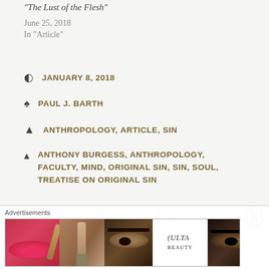The Lust of the Flesh
June 25, 2018
In "Article"
JANUARY 8, 2018
PAUL J. BARTH
ANTHROPOLOGY, ARTICLE, SIN
ANTHONY BURGESS, ANTHROPOLOGY, FACULTY, MIND, ORIGINAL SIN, SIN, SOUL, TREATISE ON ORIGINAL SIN
2 thoughts on “The Extent of Original Sin
[Figure (photo): Ulta Beauty advertisement banner showing makeup-related images including red lips, makeup brush, eye, Ulta logo, smoky eye, with SHOP NOW call to action]